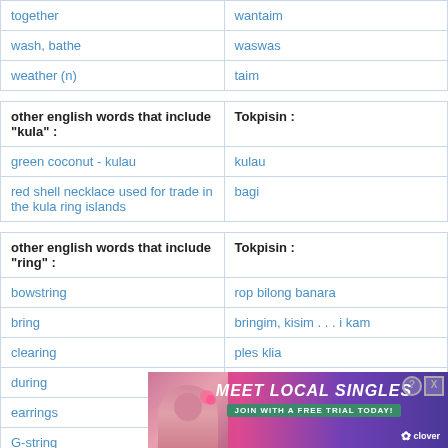|  |  |
| --- | --- |
| together | wantaim |
| wash, bathe | waswas |
| weather (n) | taim |
| other english words that include "kula" : | Tokpisin : |
| --- | --- |
| green coconut - kulau | kulau |
| red shell necklace used for trade in the kula ring islands | bagi |
| other english words that include "ring" : | Tokpisin : |
| --- | --- |
| bowstring | rop bilong banara |
| bring | bringim, kisim . . . i kam |
| clearing | ples klia |
| during | long taim bilong |
| earrings |  |
| G-string |  |
[Figure (screenshot): Advertisement overlay: 'MEET LOCAL SINGLES - JOIN WITH A FREE TRIAL TODAY' by Clover, with a Close X button]